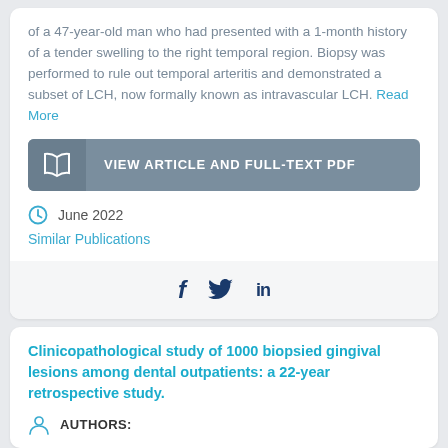of a 47-year-old man who had presented with a 1-month history of a tender swelling to the right temporal region. Biopsy was performed to rule out temporal arteritis and demonstrated a subset of LCH, now formally known as intravascular LCH. Read More
VIEW ARTICLE AND FULL-TEXT PDF
June 2022
Similar Publications
[Figure (other): Social share icons: Facebook (f), Twitter (bird), LinkedIn (in)]
Clinicopathological study of 1000 biopsied gingival lesions among dental outpatients: a 22-year retrospective study.
AUTHORS: